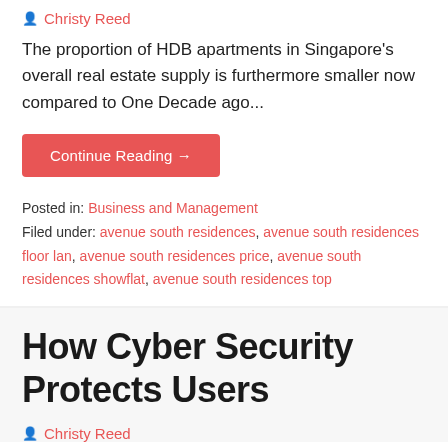Christy Reed
The proportion of HDB apartments in Singapore's overall real estate supply is furthermore smaller now compared to One Decade ago...
Continue Reading →
Posted in: Business and Management
Filed under: avenue south residences, avenue south residences floor lan, avenue south residences price, avenue south residences showflat, avenue south residences top
How Cyber Security Protects Users
Christy Reed